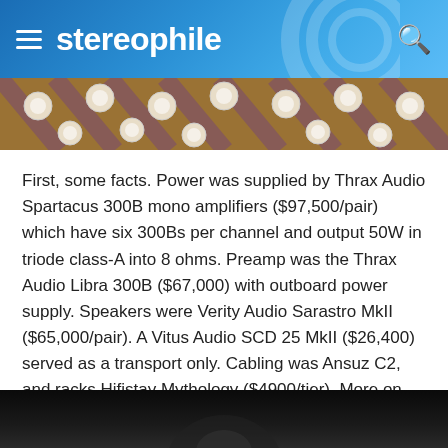stereophile
[Figure (photo): Aerial or overhead view of audio equipment/turntable with circular elements visible, purple and brown tones]
First, some facts. Power was supplied by Thrax Audio Spartacus 300B mono amplifiers ($97,500/pair) which have six 300Bs per channel and output 50W in triode class-A into 8 ohms. Preamp was the Thrax Audio Libra 300B ($67,000) with outboard power supply. Speakers were Verity Audio Sarastro MkII ($65,000/pair). A Vitus Audio SCD 25 MkII ($26,400) served as a transport only. Cabling was Ansuz C2, and racks Hifistay Mythology ($4900/tier). More on the DAC below.
[Figure (photo): Dark photo at bottom of page, partially visible, dark background]